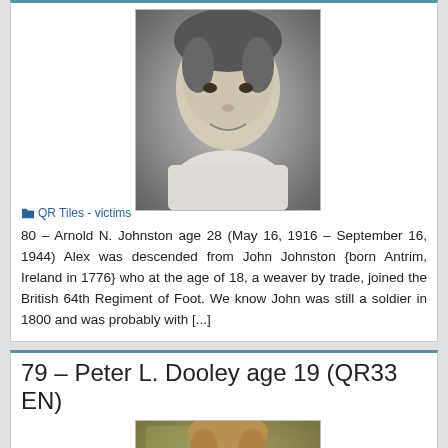QR Tiles - victims
[Figure (photo): Black and white portrait photo of a young man smiling]
80 – Arnold N. Johnston age 28 (May 16, 1916 – September 16, 1944) Alex was descended from John Johnston {born Antrim, Ireland in 1776} who at the age of 18, a weaver by trade, joined the British 64th Regiment of Foot. We know John was still a soldier in 1800 and was probably with [...]
79 – Peter L. Dooley age 19 (QR33 EN)
QR Tiles - victims
[Figure (photo): Color photo of a young woman outdoors]